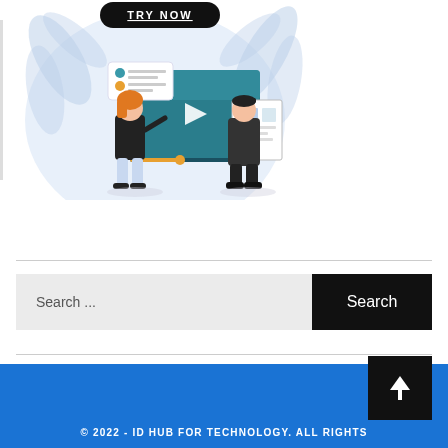[Figure (illustration): Illustration showing two cartoon people interacting with a large video player screen. A woman with orange hair points at the screen, a man in dark clothes holds a document. There is a 'TRY NOW' button at the top, and decorative tropical leaves in the background. The scene has a light blue circular backdrop.]
Search ...
Search
© 2022 - ID HUB FOR TECHNOLOGY. ALL RIGHTS